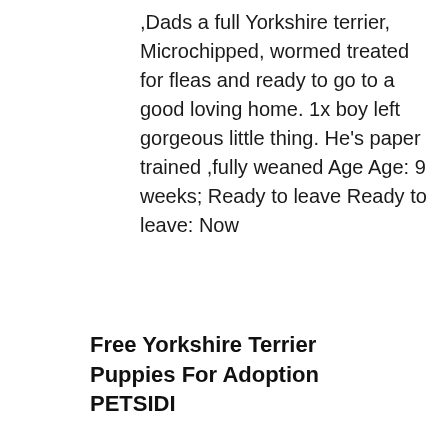,Dads a full Yorkshire terrier, Microchipped, wormed treated for fleas and ready to go to a good loving home. 1x boy left gorgeous little thing. He's paper trained ,fully weaned Age Age: 9 weeks; Ready to leave Ready to leave: Now
Free Yorkshire Terrier Puppies For Adoption PETSIDI